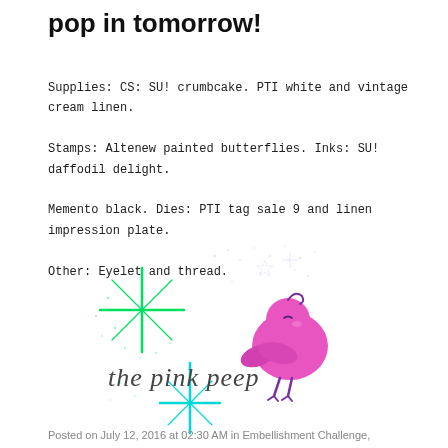pop in tomorrow!
Supplies: CS: SU! crumbcake. PTI white and vintage cream linen.

Stamps: Altenew painted butterflies. Inks: SU! daffodil delight.

Memento black. Dies: PTI tag sale 9 and linen impression plate.

Other: Eyelet and thread.
[Figure (logo): The Pink Peep blog logo featuring a pink cartoon bird, a green four-pointed star sparkle, a teal/cyan four-pointed star sparkle, scattered sparkle dots, and the cursive text 'the pink peep']
Posted on July 12, 2016 at 02:30 AM in Embellishment Challenge,